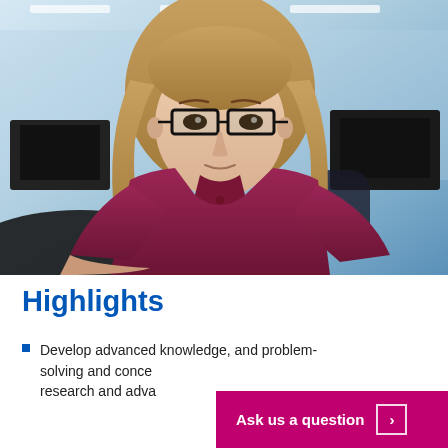[Figure (photo): A person with long hair and glasses wearing a dark red/maroon shirt, sitting at a desk in an office environment with computers and workstations visible in the background.]
Highlights
Develop advanced knowledge, and problem-solving and conceptual skills for research and adva...